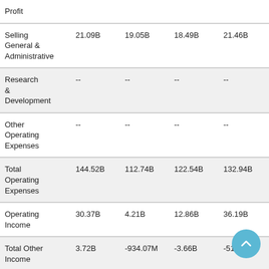|  |  |  |  |  |
| --- | --- | --- | --- | --- |
| Profit |  |  |  |  |
| Selling General & Administrative | 21.09B | 19.05B | 18.49B | 21.46B |
| Research & Development | -- | -- | -- | -- |
| Other Operating Expenses | -- | -- | -- | -- |
| Total Operating Expenses | 144.52B | 112.74B | 122.54B | 132.94B |
| Operating Income | 30.37B | 4.21B | 12.86B | 36.19B |
| Total Other Income | 3.72B | -934.07M | -3.66B | -510.02M |